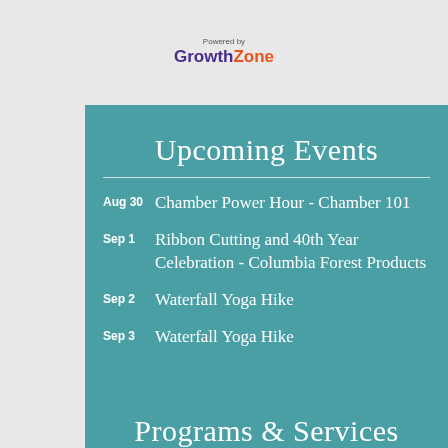[Figure (logo): GrowthZone logo with 'Powered by' text above. 'Growth' in purple/dark violet bold, 'Zone' in orange bold.]
Upcoming Events
Aug 30 - Chamber Power Hour - Chamber 101
Sep 1 - Ribbon Cutting and 40th Year Celebration - Columbia Forest Products
Sep 2 - Waterfall Yoga Hike
Sep 3 - Waterfall Yoga Hike
Programs & Services